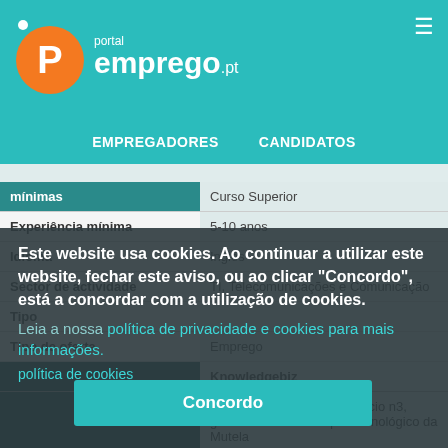[Figure (logo): Portal Emprego.pt logo with orange circle P and teal background]
EMPREGADORES   CANDIDATOS
| mínimas | Curso Superior |
| --- | --- |
| Experiência mínima | 5-10 anos |
| Idioma | Inglês |
| Sector de actividade | TI, Telecomunicações e Comunicação |
| Tipo |  |
| Tipo de oferta | Emprego |
|  | Knowledgebiz |
|  | Av. Aliança Povo MFA, edifício n3, gabinete R204b Parque Tecnológico da Mutela |
| Contactos | 2894 2537 Almada |
Este website usa cookies. Ao continuar a utilizar este website, fechar este aviso, ou ao clicar "Concordo", está a concordar com a utilização de cookies.
Leia a nossa política de privacidade e cookies para mais informações.
política de cookies